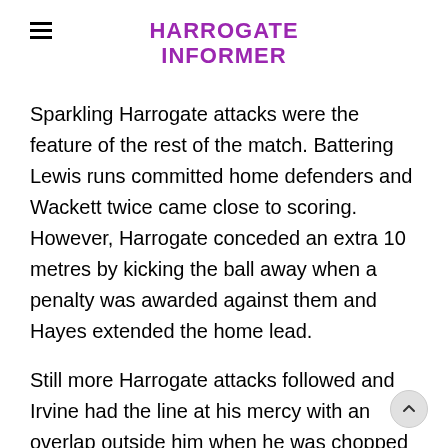HARROGATE INFORMER
Sparkling Harrogate attacks were the feature of the rest of the match. Battering Lewis runs committed home defenders and Wackett twice came close to scoring. However, Harrogate conceded an extra 10 metres by kicking the ball away when a penalty was awarded against them and Hayes extended the home lead.
Still more Harrogate attacks followed and Irvine had the line at his mercy with an overlap outside him when he was chopped down by a brutal high tackle. The inevitable penalty try was duly awarded. One